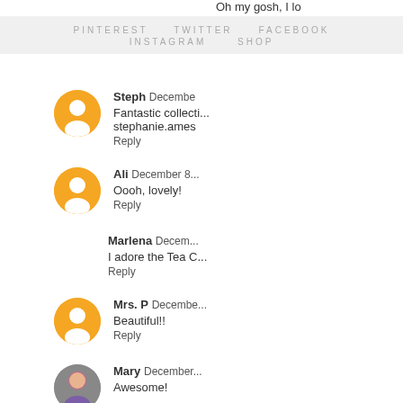Oh my gosh, I lo
PINTEREST   TWITTER   FACEBOOK   INSTAGRAM   SHOP
Steph December... Fantastic collecti... stephanie.ames... Reply
Ali December 8... Oooh, lovely! Reply
Marlena Decem... I adore the Tea C... Reply
Mrs. P Decembe... Beautiful!! Reply
Mary December... Awesome!